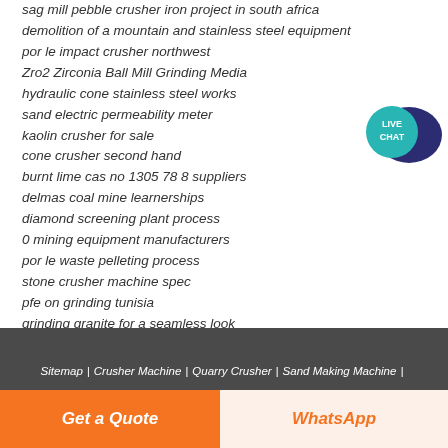sag mill pebble crusher iron project in south africa
demolition of a mountain and stainless steel equipment
por le impact crusher northwest
Zro2 Zirconia Ball Mill Grinding Media
hydraulic cone stainless steel works
sand electric permeability meter
kaolin crusher for sale
cone crusher second hand
burnt lime cas no 1305 78 8 suppliers
delmas coal mine learnerships
diamond screening plant process
0 mining equipment manufacturers
por le waste pelleting process
stone crusher machine spec
pfe on grinding tunisia
grinding granite for a seamless look
[Figure (logo): Live Chat bubble icon with dark blue speech bubble and teal circle saying LIVE CHAT]
Sitemap | Crusher Machine | Quarry Crusher | Sand Making Machine | Stone Crusher | Cone Crusher | Impact Crusher | Portable Crusher
Get a Quote
WhatsApp